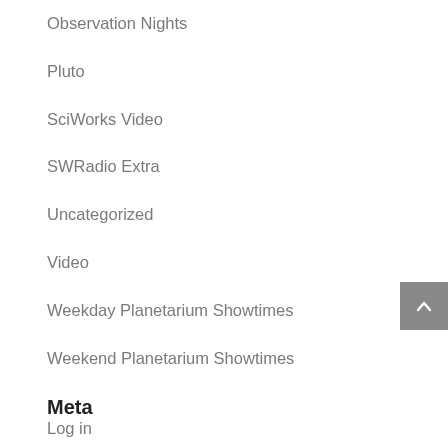Observation Nights
Pluto
SciWorks Video
SWRadio Extra
Uncategorized
Video
Weekday Planetarium Showtimes
Weekend Planetarium Showtimes
Meta
Log in
Entries feed
Comments feed
WordPress.org